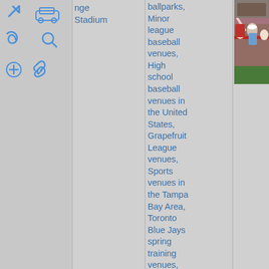[Figure (infographic): Navigation/tool icons: arrow, car, spiral, magnifying glass, plus, link chain icons in blue]
nge Stadium
ballparks, Minor league baseball venues, High school baseball venues in the United States, Grapefruit League venues, Sports venues in the Tampa Bay Area, Toronto Blue Jays spring training venues, Hidden categories:, Coordinates on Wikidata, Commons category
[Figure (photo): Crowded baseball stadium stands with fans watching a game, red railings visible, sunny day]